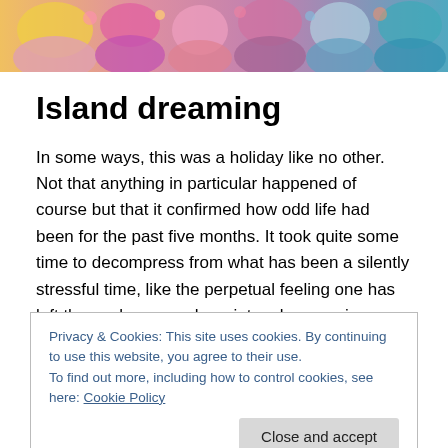[Figure (illustration): Colorful artistic header image showing stylized figures with vivid colors — pinks, blues, yellows — in a painted or illustrated style.]
Island dreaming
In some ways, this was a holiday like no other. Not that anything in particular happened of course but that it confirmed how odd life had been for the past five months. It took quite some time to decompress from what has been a silently stressful time, like the perpetual feeling one has left the cooker on an hour into a long car journey. It has
Privacy & Cookies: This site uses cookies. By continuing to use this website, you agree to their use.
To find out more, including how to control cookies, see here: Cookie Policy
that we better be damn well prepared for. Not to mention